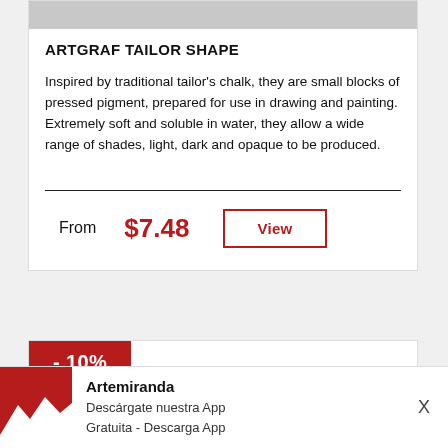[Figure (photo): Gray placeholder image at top of product card]
ARTGRAF TAILOR SHAPE
Inspired by traditional tailor's chalk, they are small blocks of pressed pigment, prepared for use in drawing and painting. Extremely soft and soluble in water, they allow a wide range of shades, light, dark and opaque to be produced.
From $7.48   View
- 10%
Artemiranda
Descárgate nuestra App
Gratuita - Descarga App